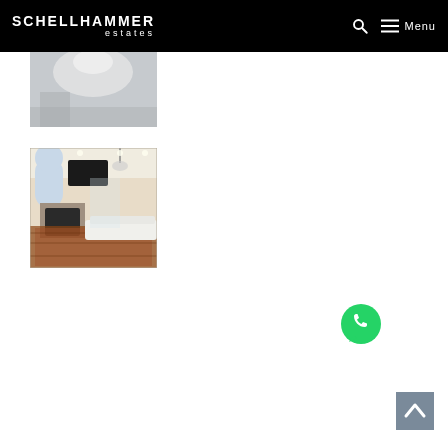SCHELLHAMMER estates — Menu
[Figure (photo): Partially visible interior room photo at top]
[Figure (photo): Interior living room photo with arched window, fireplace, ornate rug, and white furniture]
[Figure (logo): WhatsApp contact button (green circle with phone icon)]
[Figure (other): Scroll-to-top button (grey square with upward chevron)]